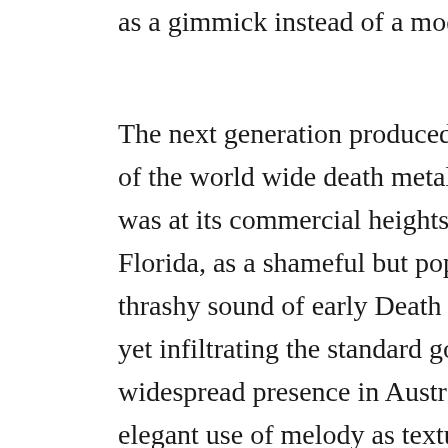as a gimmick instead of a mode to ex... The next generation produced more s... of the world wide death metal presenc... was at its commercial heights, '91-'93... Florida, as a shameful but popular ex... thrashy sound of early Death with sor... yet infiltrating the standard gore text ... widespread presence in Australian me... elegant use of melody as texture, aki... Gates, remained unknown to most de... altogether as brilliant, but as with ma... breeding ground for musicians and id...